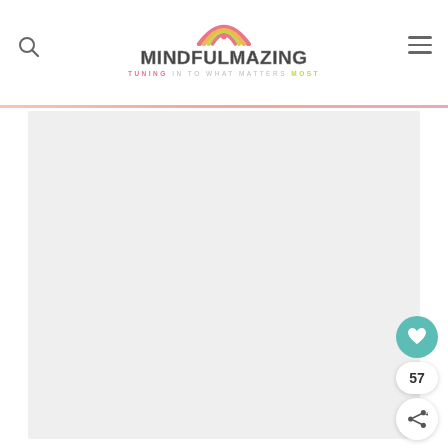[Figure (logo): Mindfulmazing logo with rainbow arc graphic above the text 'MINDFULMAZING' and tagline 'TUNING IN TO WHAT MATTERS MOST']
[Figure (other): Light gray content placeholder area below the header divider line]
[Figure (other): Floating action buttons on the right side: a teal heart/like button, a count badge showing '57', and a white share button with social share icon]